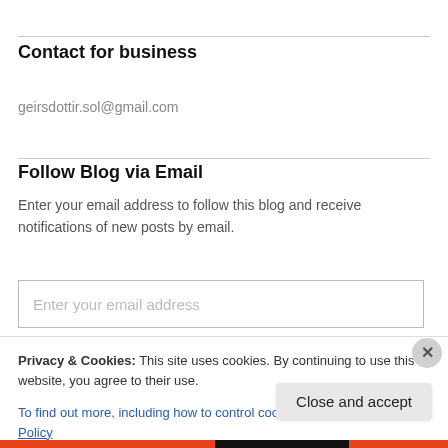Contact for business
geirsdottir.sol@gmail.com
Follow Blog via Email
Enter your email address to follow this blog and receive notifications of new posts by email.
Enter your email address
Privacy & Cookies: This site uses cookies. By continuing to use this website, you agree to their use.
To find out more, including how to control cookies, see here: Cookie Policy
Close and accept